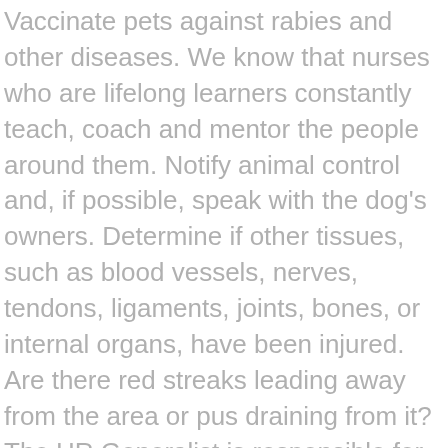Vaccinate pets against rabies and other diseases. We know that nurses who are lifelong learners constantly teach, coach and mentor the people around them. Notify animal control and, if possible, speak with the dog's owners. Determine if other tissues, such as blood vessels, nerves, tendons, ligaments, joints, bones, or internal organs, have been injured. Are there red streaks leading away from the area or pus draining from it? The HR Generalist is responsible for providing day to day human resources support, providing guidance in the administration of policies and procedures. If you do not have an increased chance of getting an infection, do not have other injuries, and do not need treatment by a doctor or a tetanus shot, you can clean and bandage a bite at home. More COVID-19 testing locations and expanded hours. MidState Medical Center 3.7. If the symptoms get worse, seek care sooner. Adult bites that cause a wound to the hand can be serious. They may think that their symptoms aren't serious or that they can just get someone else to drive them. Job Summary Location: